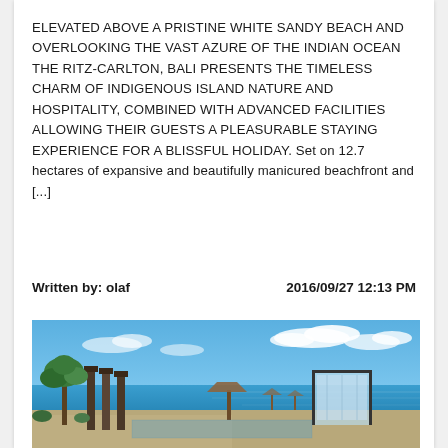ELEVATED ABOVE A PRISTINE WHITE SANDY BEACH AND OVERLOOKING THE VAST AZURE OF THE INDIAN OCEAN THE RITZ-CARLTON, BALI PRESENTS THE TIMELESS CHARM OF INDIGENOUS ISLAND NATURE AND HOSPITALITY, COMBINED WITH ADVANCED FACILITIES ALLOWING THEIR GUESTS A PLEASURABLE STAYING EXPERIENCE FOR A BLISSFUL HOLIDAY. Set on 12.7 hectares of expansive and beautifully manicured beachfront and [...]
Written by: olaf    2016/09/27 12:13 PM
[Figure (photo): Aerial/elevated view of The Ritz-Carlton Bali resort showing a pool or terrace area with architectural structures, tropical trees, beach umbrellas or pavilions, and the Indian Ocean with blue sky and clouds in the background.]